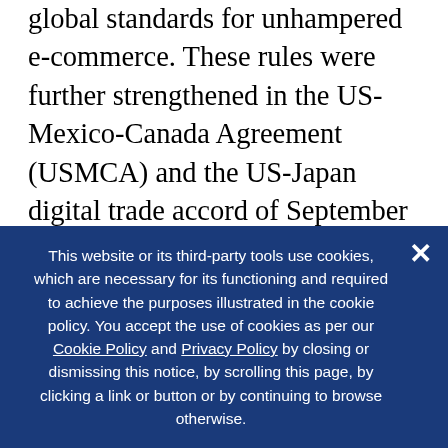Partnership included the first effort to generate global standards for unhampered e-commerce. These rules were further strengthened in the US-Mexico-Canada Agreement (USMCA) and the US-Japan digital trade accord of September 2019. Biden could build a coalition of the US, EU, Japan, Australia, and others to encourage the WTO to embrace free cross-border flows of data with no duties and no data-localization rules for e-commerce, since current talks on digital standard have stalemated. In addition, the US should spearhead efforts by the public and private sectors to develop and enforce Cross-Border...
This website or its third-party tools use cookies, which are necessary for its functioning and required to achieve the purposes illustrated in the cookie policy. You accept the use of cookies as per our Cookie Policy and Privacy Policy by closing or dismissing this notice, by scrolling this page, by clicking a link or button or by continuing to browse otherwise.